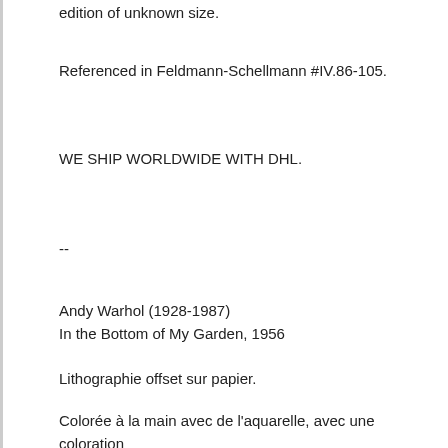edition of unknown size.
Referenced in Feldmann-Schellmann #IV.86-105.
WE SHIP WORLDWIDE WITH DHL.
--
Andy Warhol (1928-1987)
In the Bottom of My Garden, 1956
Lithographie offset sur papier.
Colorée à la main avec de l'aquarelle, avec une coloration unique faite à la main par Warhol et ses amis!
Dimensions :